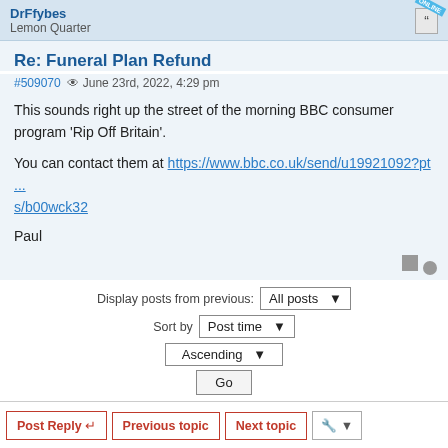DrFfybes
Lemon Quarter
Re: Funeral Plan Refund
#509070  June 23rd, 2022, 4:29 pm
This sounds right up the street of the morning BBC consumer program 'Rip Off Britain'.
You can contact them at https://www.bbc.co.uk/send/u19921092?pt ... s/b00wck32
Paul
Display posts from previous:  All posts  ▼
Sort by  Post time  ▼
Ascending  ▼
Go
Post Reply  ↵   Previous topic   Next topic
6 posts • Page 1 of 1
Jump to  ▼
WHO IS ONLINE